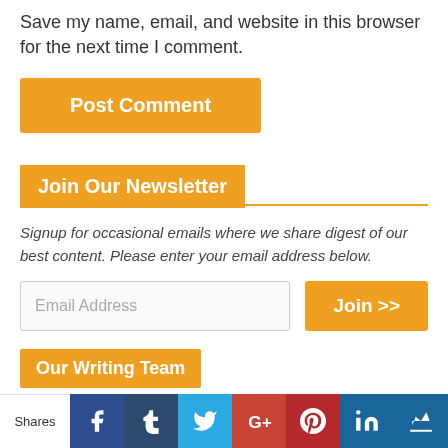Save my name, email, and website in this browser for the next time I comment.
Post Comment
Join Our Newsletter
Signup for occasional emails where we share digest of our best content. Please enter your email address below.
Email Address
Join >>
Our Writing Team
Shares | f | t | Twitter | G+ | Pinterest | in | Crown